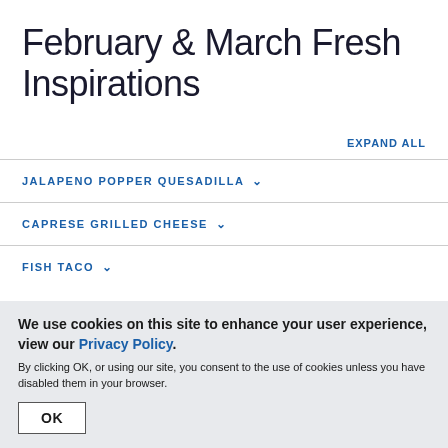February & March Fresh Inspirations
EXPAND ALL
JALAPENO POPPER QUESADILLA
CAPRESE GRILLED CHEESE
FISH TACO
We use cookies on this site to enhance your user experience, view our Privacy Policy.
By clicking OK, or using our site, you consent to the use of cookies unless you have disabled them in your browser.
OK